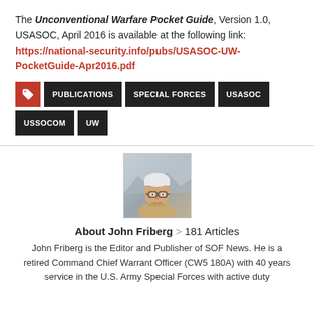The Unconventional Warfare Pocket Guide, Version 1.0, USASOC, April 2016 is available at the following link:
https://national-security.info/pubs/USASOC-UW-PocketGuide-Apr2016.pdf
PUBLICATIONS
SPECIAL FORCES
USASOC
USSOCOM
UW
[Figure (photo): Headshot photo of John Friberg, a man with white/gray hair and glasses wearing a military-style khaki shirt, with a mountainous background]
About John Friberg > 181 Articles
John Friberg is the Editor and Publisher of SOF News. He is a retired Command Chief Warrant Officer (CW5 180A) with 40 years service in the U.S. Army Special Forces with active duty